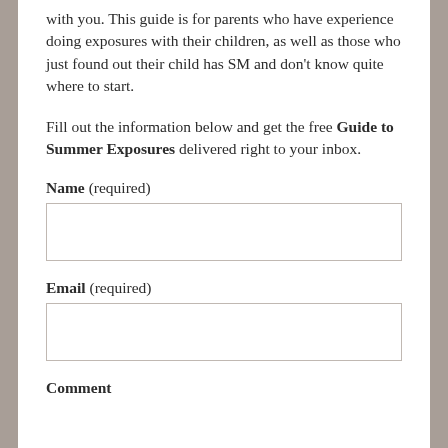with you. This guide is for parents who have experience doing exposures with their children, as well as those who just found out their child has SM and don't know quite where to start.
Fill out the information below and get the free Guide to Summer Exposures delivered right to your inbox.
Name (required)
Email (required)
Comment